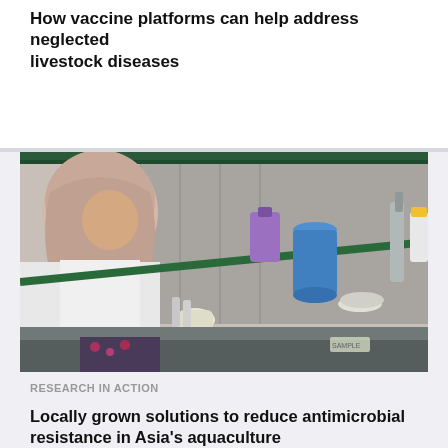How vaccine platforms can help address neglected livestock diseases
[Figure (photo): A researcher wearing a hijab and white lab coat with gloves works inside a biosafety cabinet, surrounded by laboratory equipment including bottles, pipettes, and containers of reagents.]
RESEARCH IN ACTION
Locally grown solutions to reduce antimicrobial resistance in Asia's aquaculture